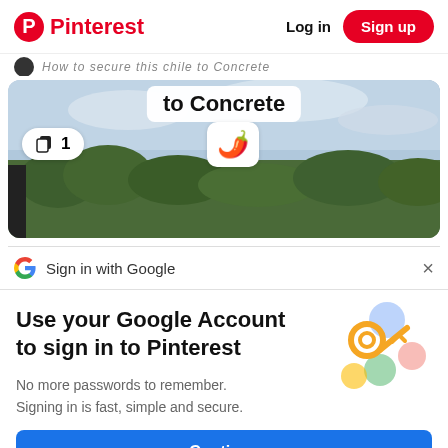Pinterest  Log in  Sign up
[Figure (screenshot): A Pinterest thumbnail strip showing a partial title text and a landscape/countryside image with overlay badges: a copy badge showing '1', and a chili pepper emoji badge. Title overlay reads 'to Concrete'.]
Sign in with Google
Use your Google Account to sign in to Pinterest
No more passwords to remember. Signing in is fast, simple and secure.
Continue